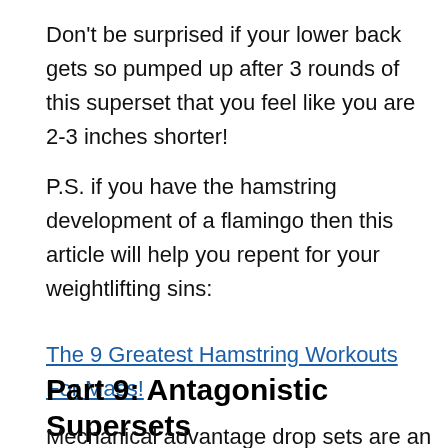Don't be surprised if your lower back gets so pumped up after 3 rounds of this superset that you feel like you are 2-3 inches shorter!
P.S. if you have the hamstring development of a flamingo then this article will help you repent for your weightlifting sins:
The 9 Greatest Hamstring Workouts For Mass!
Part 9: Antagonistic Supersets
Mechanical advantage drop sets are an incredibly effective way to train. Of course I am always searching for ways to take an existing training method and make it even more effective